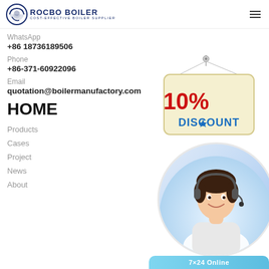[Figure (logo): Rocbo Boiler logo with circular icon and text 'ROCBO BOILER - COST-EFFECTIVE BOILER SUPPLIER']
WhatsApp
+86 18736189506
Phone
+86-371-60922096
Email
quotation@boilermanufactory.com
HOME
Products
Cases
Project
News
About
[Figure (illustration): 10% DISCOUNT hanging sign illustration]
[Figure (photo): Customer service representative with headset in circular frame]
7×24 Online